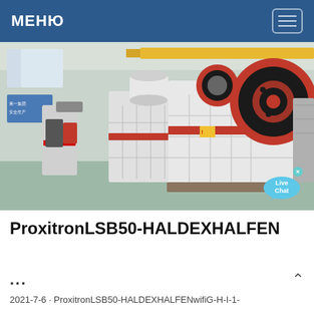МЕНЮ
[Figure (photo): Industrial jaw crushers lined up in a factory floor. Large machines with red and black flywheels, white painted bodies, arranged in a row inside a manufacturing facility with overhead cranes visible.]
ProxitronLSB50-HALDEXHALFEN
...
2021-7-6 · ProxitronLSB50-HALDEXHALFENwifiG-H-I-1-